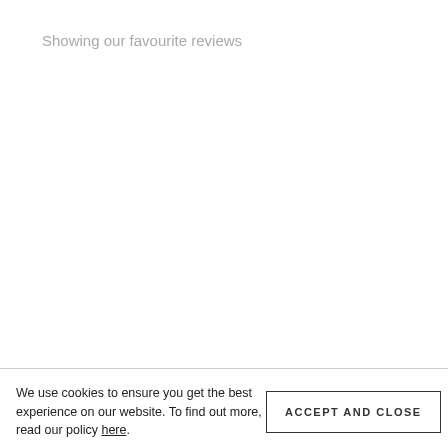Showing our favourite reviews
We use cookies to ensure you get the best experience on our website. To find out more, read our policy here.